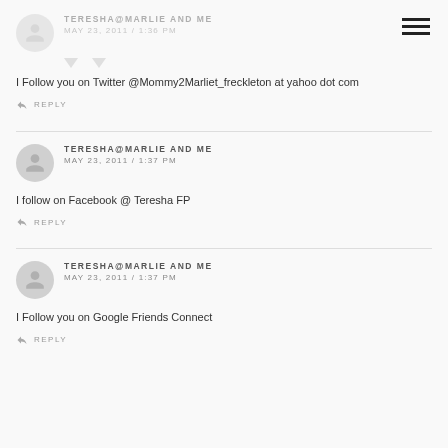[Figure (other): Hamburger menu icon (three horizontal lines) in top right corner]
[Figure (other): Partial comment: Avatar icon with user name TERESHA@MARLIE AND ME, date MAY 23, 2011 / 1:36 PM, with vote down arrows visible]
I Follow you on Twitter @Mommy2Marliet_freckleton at yahoo dot com
REPLY
TERESHA@MARLIE AND ME
MAY 23, 2011 / 1:37 PM
I follow on Facebook @ Teresha FP
REPLY
TERESHA@MARLIE AND ME
MAY 23, 2011 / 1:37 PM
I Follow you on Google Friends Connect
REPLY